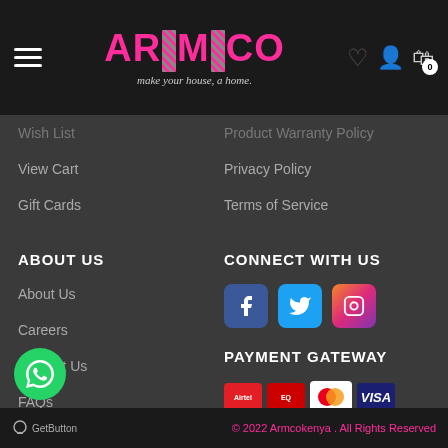[Figure (screenshot): ARMCO website header with logo, hamburger menu, heart icon, user icon, and cart icon with badge 0]
Wish List
View Cart
Gift Cards
Product Warranty Policy
Privacy Policy
Terms of Service
ABOUT US
About Us
Careers
Contact Us
FAQs
CONNECT WITH US
[Figure (logo): Social media icons: Facebook, Twitter, Instagram]
PAYMENT GATEWAY
[Figure (logo): Payment logos: Airtel Money, Equity, Mastercard, Visa, RTA, American Express, M-Pesa]
© 2022 Armcokenya . All Rights Reserved